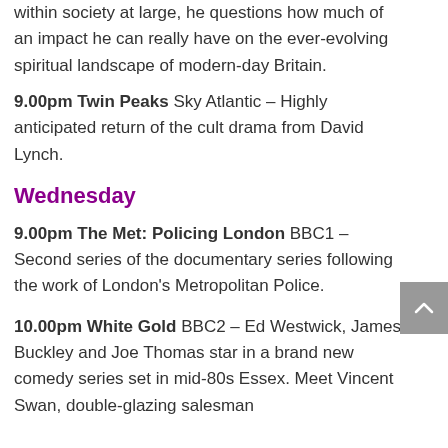within society at large, he questions how much of an impact he can really have on the ever-evolving spiritual landscape of modern-day Britain.
9.00pm Twin Peaks Sky Atlantic – Highly anticipated return of the cult drama from David Lynch.
Wednesday
9.00pm The Met: Policing London BBC1 – Second series of the documentary series following the work of London's Metropolitan Police.
10.00pm White Gold BBC2 – Ed Westwick, James Buckley and Joe Thomas star in a brand new comedy series set in mid-80s Essex. Meet Vincent Swan, double-glazing salesman